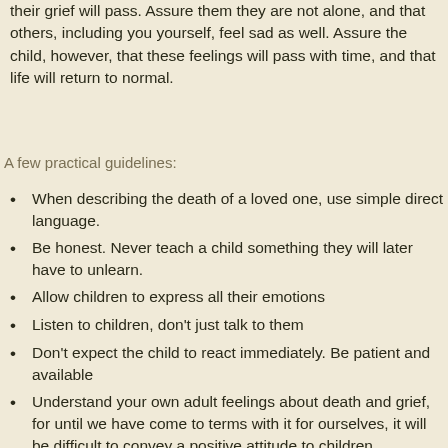their grief will pass. Assure them they are not alone, and that others, including you yourself, feel sad as well. Assure the child, however, that these feelings will pass with time, and that life will return to normal.
A few practical guidelines:
When describing the death of a loved one, use simple direct language.
Be honest. Never teach a child something they will later have to unlearn.
Allow children to express all their emotions
Listen to children, don't just talk to them
Don't expect the child to react immediately. Be patient and available
Understand your own adult feelings about death and grief, for until we have come to terms with it for ourselves, it will be difficult to convey a positive attitude to children.